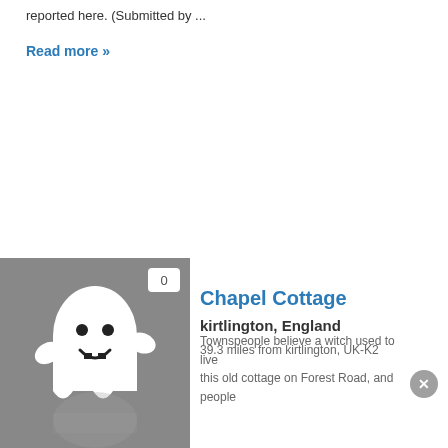reported here. (Submitted by ...
Read more »
[Figure (illustration): Ghost cartoon illustration on grey background card with badge showing 0]
Chapel Cottage
kirtlington, England
39.3 miles from kirtlington, UK-K2
Townspeople believe a witch used to live this old cottage on Forest Road, and people